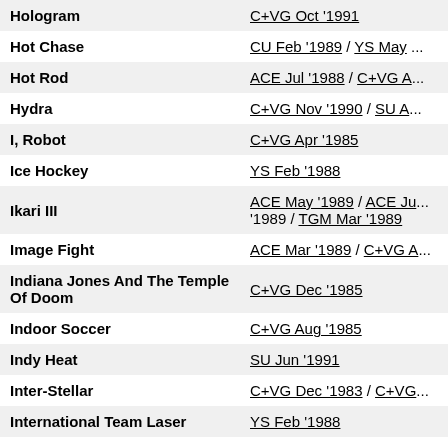| Title | Reviews |
| --- | --- |
| Hologram | C+VG Oct '1991 |
| Hot Chase | CU Feb '1989 / YS May ... |
| Hot Rod | ACE Jul '1988 / C+VG A... |
| Hydra | C+VG Nov '1990 / SU A... |
| I, Robot | C+VG Apr '1985 |
| Ice Hockey | YS Feb '1988 |
| Ikari III | ACE May '1989 / ACE Ju... '1989 / TGM Mar '1989 |
| Image Fight | ACE Mar '1989 / C+VG A... |
| Indiana Jones And The Temple Of Doom | C+VG Dec '1985 |
| Indoor Soccer | C+VG Aug '1985 |
| Indy Heat | SU Jun '1991 |
| Inter-Stellar | C+VG Dec '1983 / C+VG... |
| International Team Laser | YS Feb '1988 |
| Iron Man Ivan Stewart's 4x4 Off Road | ACE May '1989 / TGM J... |